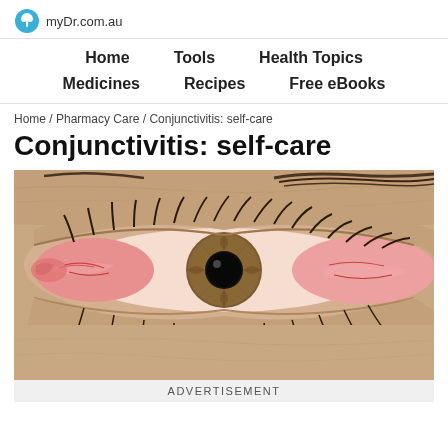myDr.com.au
Home   Tools   Health Topics   Medicines   Recipes   Free eBooks
Home / Pharmacy Care / Conjunctivitis: self-care
Conjunctivitis: self-care
[Figure (photo): Close-up photograph of a human eye with conjunctivitis, showing redness and irritation of the conjunctiva, with brown iris and black pupil visible.]
ADVERTISEMENT